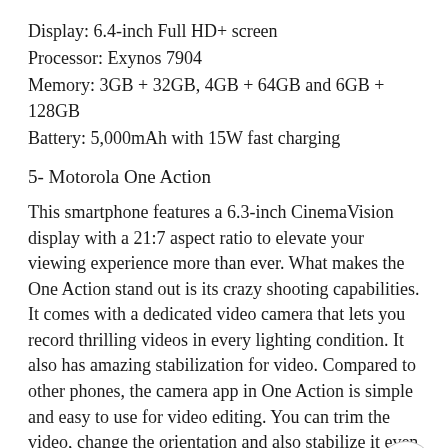Display: 6.4-inch Full HD+ screen
Processor: Exynos 7904
Memory: 3GB + 32GB, 4GB + 64GB and 6GB + 128GB
Battery: 5,000mAh with 15W fast charging
5- Motorola One Action
This smartphone features a 6.3-inch CinemaVision display with a 21:7 aspect ratio to elevate your viewing experience more than ever. What makes the One Action stand out is its crazy shooting capabilities. It comes with a dedicated video camera that lets you record thrilling videos in every lighting condition. It also has amazing stabilization for video. Compared to other phones, the camera app in One Action is simple and easy to use for video editing. You can trim the video, change the orientation and also stabilize it even after shooting with ease. Here are its specifications:
Rear Camera: 12MP + 5MP +5MP triple-camera setup
Front Camera: 12MP